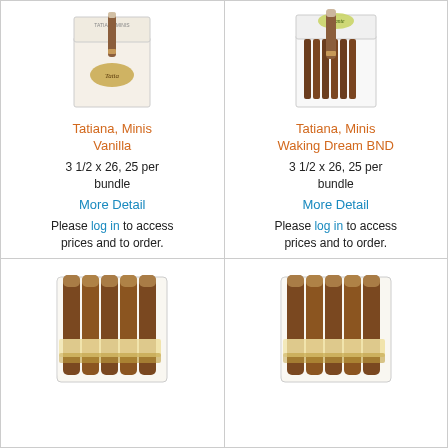[Figure (photo): Tatiana Minis Vanilla cigar box with cigars]
Tatiana, Minis Vanilla
3 1/2 x 26, 25 per bundle
More Detail
Please log in to access prices and to order.
[Figure (photo): Tatiana Minis Waking Dream BND cigar box with cigars]
Tatiana, Minis Waking Dream BND
3 1/2 x 26, 25 per bundle
More Detail
Please log in to access prices and to order.
[Figure (photo): Bundle of 5 cigars wrapped in cellophane - bottom left]
[Figure (photo): Bundle of 5 cigars wrapped in cellophane - bottom right]